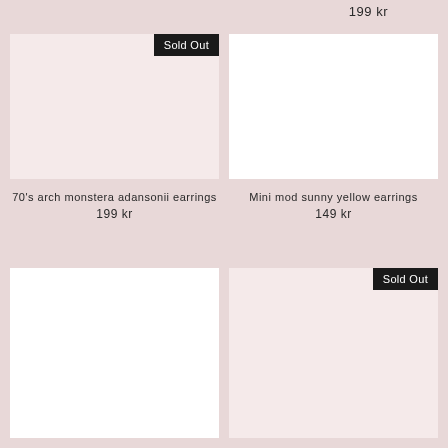199 kr
[Figure (photo): Product image placeholder - sold out, pink background, top left]
[Figure (photo): Product image placeholder, white background, top right]
70's arch monstera adansonii earrings
199 kr
Mini mod sunny yellow earrings
149 kr
[Figure (photo): Product image placeholder, white background, bottom left]
[Figure (photo): Product image placeholder - sold out, pink background, bottom right]